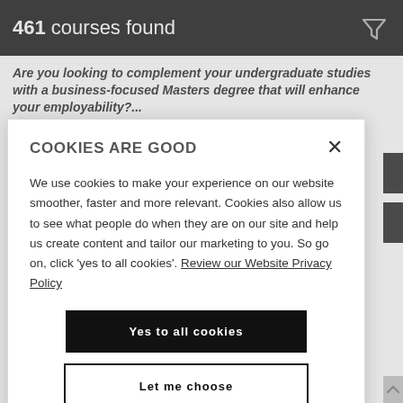461 courses found
Are you looking to complement your undergraduate studies with a business-focused Masters degree that will enhance your employability?...
COOKIES ARE GOOD
We use cookies to make your experience on our website smoother, faster and more relevant. Cookies also allow us to see what people do when they are on our site and help us create content and tailor our marketing to you. So go on, click 'yes to all cookies'. Review our Website Privacy Policy
Yes to all cookies
Let me choose